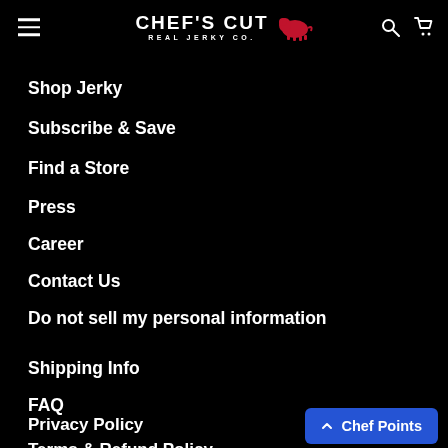CHEF'S CUT REAL JERKY CO.
Shop Jerky
Subscribe & Save
Find a Store
Press
Career
Contact Us
Do not sell my personal information
Shipping Info
FAQ
Privacy Policy
Terms & Refund Policy